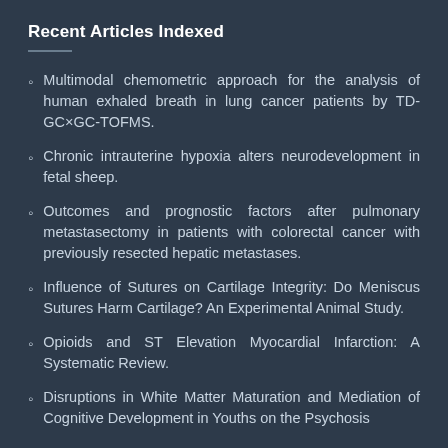Recent Articles Indexed
Multimodal chemometric approach for the analysis of human exhaled breath in lung cancer patients by TD-GC×GC-TOFMS.
Chronic intrauterine hypoxia alters neurodevelopment in fetal sheep.
Outcomes and prognostic factors after pulmonary metastasectomy in patients with colorectal cancer with previously resected hepatic metastases.
Influence of Sutures on Cartilage Integrity: Do Meniscus Sutures Harm Cartilage? An Experimental Animal Study.
Opioids and ST Elevation Myocardial Infarction: A Systematic Review.
Disruptions in White Matter Maturation and Mediation of Cognitive Development in Youths on the Psychosis